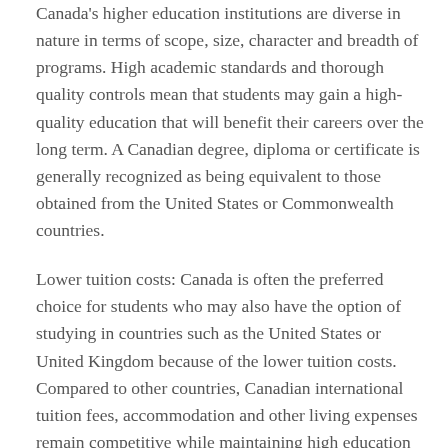Canada's higher education institutions are diverse in nature in terms of scope, size, character and breadth of programs. High academic standards and thorough quality controls mean that students may gain a high-quality education that will benefit their careers over the long term. A Canadian degree, diploma or certificate is generally recognized as being equivalent to those obtained from the United States or Commonwealth countries.
Lower tuition costs: Canada is often the preferred choice for students who may also have the option of studying in countries such as the United States or United Kingdom because of the lower tuition costs. Compared to other countries, Canadian international tuition fees, accommodation and other living expenses remain competitive while maintaining high education standard.
Work while you study: Students studying in Canada are eligible to work while studying. This allows them to manage their finances without incurring huge debt. Students can work up to 20 hours per week during regular academic sessions; and work